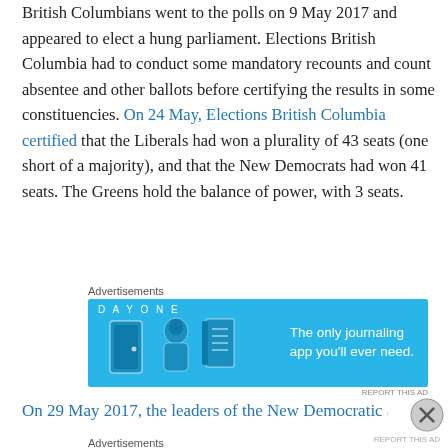British Columbians went to the polls on 9 May 2017 and appeared to elect a hung parliament. Elections British Columbia had to conduct some mandatory recounts and count absentee and other ballots before certifying the results in some constituencies. On 24 May, Elections British Columbia certified that the Liberals had won a plurality of 43 seats (one short of a majority), and that the New Democrats had won 41 seats. The Greens hold the balance of power, with 3 seats.
[Figure (other): Advertisement banner for DayOne journaling app with blue background, cartoon icons, and text 'The only journaling app you'll ever need.']
On 29 May 2017, the leaders of the New Democratic and
Advertisements